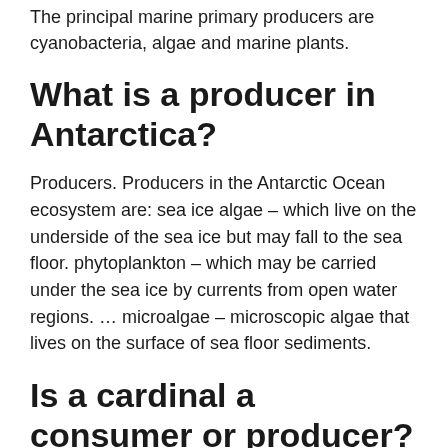The principal marine primary producers are cyanobacteria, algae and marine plants.
What is a producer in Antarctica?
Producers. Producers in the Antarctic Ocean ecosystem are: sea ice algae – which live on the underside of the sea ice but may fall to the sea floor. phytoplankton – which may be carried under the sea ice by currents from open water regions. … microalgae – microscopic algae that lives on the surface of sea floor sediments.
Is a cardinal a consumer or producer?